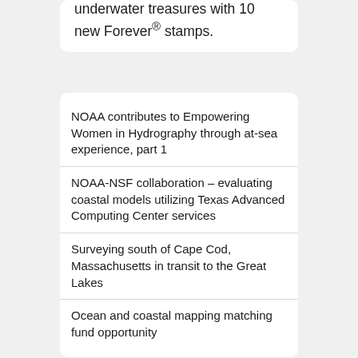underwater treasures with 10 new Forever® stamps.
NOAA contributes to Empowering Women in Hydrography through at-sea experience, part 1
NOAA-NSF collaboration – evaluating coastal models utilizing Texas Advanced Computing Center services
Surveying south of Cape Cod, Massachusetts in transit to the Great Lakes
Ocean and coastal mapping matching fund opportunity